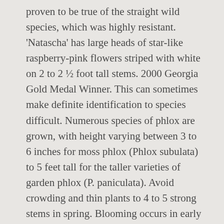proven to be true of the straight wild species, which was highly resistant. 'Natascha' has large heads of star-like raspberry-pink flowers striped with white on 2 to 2 ½ foot tall stems. 2000 Georgia Gold Medal Winner. This can sometimes make definite identification to species difficult. Numerous species of phlox are grown, with height varying between 3 to 6 inches for moss phlox (Phlox subulata) to 5 feet tall for the taller varieties of garden phlox (P. paniculata). Avoid crowding and thin plants to 4 to 5 strong stems in spring. Blooming occurs in early to mid summer. In South Carolina, annual phlox is should be grown as a cool season annual.